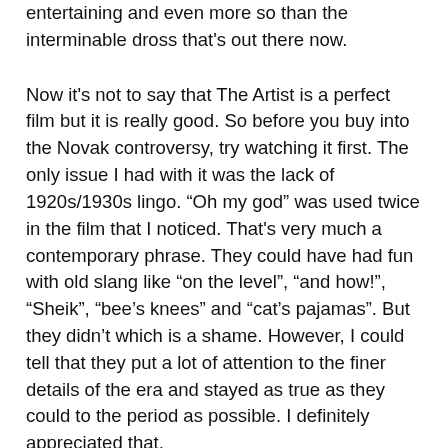entertaining and even more so than the interminable dross that's out there now.
Now it's not to say that The Artist is a perfect film but it is really good. So before you buy into the Novak controversy, try watching it first. The only issue I had with it was the lack of 1920s/1930s lingo. “Oh my god” was used twice in the film that I noticed. That's very much a contemporary phrase. They could have had fun with old slang like “on the level”, “and how!”, “Sheik”, “bee’s knees” and “cat’s pajamas”. But they didn’t which is a shame. However, I could tell that they put a lot of attention to the finer details of the era and stayed as true as they could to the period as possible. I definitely appreciated that.
Someone online stated that people who will watch The Artist will not decide to then watch earlier silent films. I don’t agree with that. It’s not that I think people will be lining up to see the most complete version of Metropolis but I think saying no one will be interested in silent films is too general a statement. Whenever I watch a film I like, I try to find other